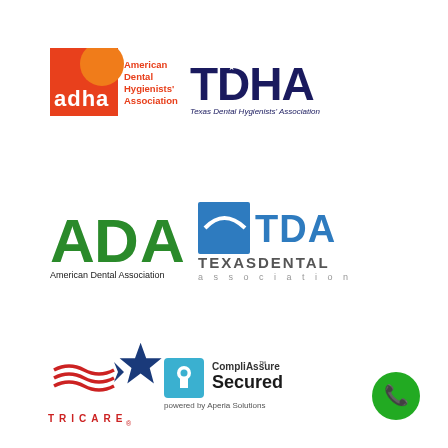[Figure (logo): ADHA (American Dental Hygienists' Association) logo with orange/red square and 'adha' text, next to TDHA (Texas Dental Hygienists' Association) logo in dark navy blue]
[Figure (logo): ADA (American Dental Association) logo in green, next to TDA (Texas Dental Association) logo in blue]
[Figure (logo): TRICARE logo in red/blue, next to CompliAssure Secured badge powered by Aperia Solutions]
[Figure (logo): Green phone call button icon in bottom-right corner]